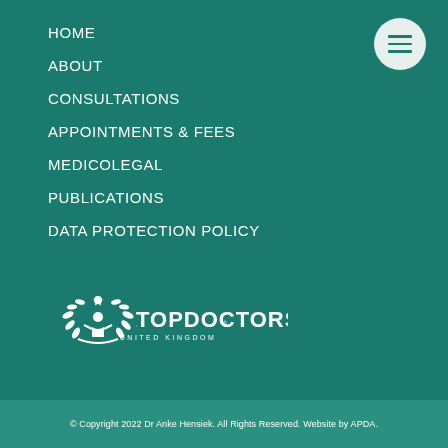HOME
ABOUT
CONSULTATIONS
APPOINTMENTS & FEES
MEDICOLEGAL
PUBLICATIONS
DATA PROTECTION POLICY
[Figure (logo): Top Doctors United Kingdom logo with laurel wreath emblem in white on teal background]
© Copyright 2022 Dr Anke Hensiek. All Rights Reserved. Website by APDA.